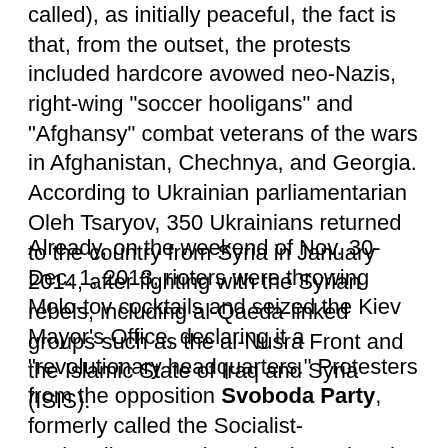called), as initially peaceful, the fact is that, from the outset, the protests included hardcore avowed neo-Nazis, right-wing "soccer hooligans" and "Afghansy" combat veterans of the wars in Afghanistan, Chechnya, and Georgia. According to Ukrainian parliamentarian Oleh Tsaryov, 350 Ukrainians returned to the country from Syria in January 2014, after fighting with the Syrian rebels, including al-Qaeda-linked groups such as the al-Nusra Front and the Islamic State of Iraq and Syria (ISIS).
Already, on the weekend of Nov. 30-Dec. 1, 2013, rioters were throwing Molo-tov cocktails and seized the Kiev Mayor's Office, declaring it a "revolutionary headquarters." Protesters from the opposition Svoboda Party, formerly called the Socialist-Nationalists, march under the red and black flag of Stepan Bandera's Organization of